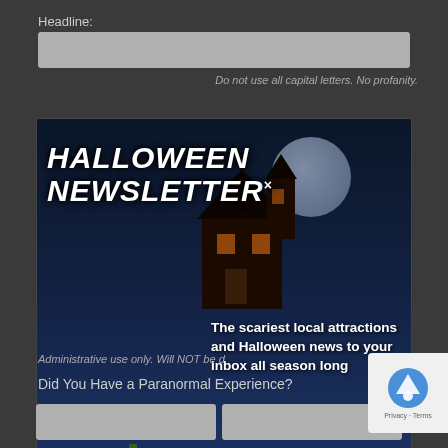Headline:
Do not use all capital letters. No profanity.
[Figure (illustration): Halloween Newsletter signup popup with spooky night background featuring a glowing jack-o-lantern pumpkin, haunted house silhouette, moonlit sky, graveyard crosses, and grass silhouette. Contains large 'HALLOWEEN NEWSLETTER' title text, description 'The scariest local attractions and Halloween news to your inbox all season long', '• Ohio Edition •' subtitle, an email input field with placeholder '[your email]', and an orange 'Join' button.]
Administrative use only. Will NOT be d
Did You Have a Paranormal Experience?